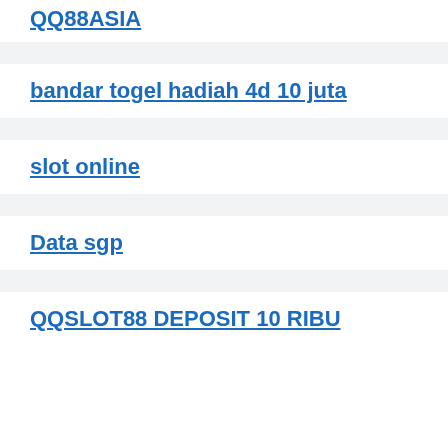QQ88ASIA
bandar togel hadiah 4d 10 juta
slot online
Data sgp
QQSLOT88 DEPOSIT 10 RIBU